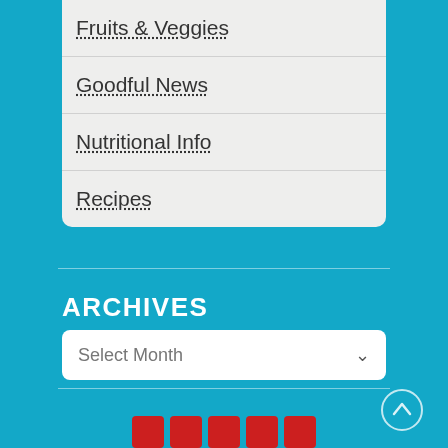Fruits & Veggies
Goodful News
Nutritional Info
Recipes
ARCHIVES
Select Month
[Figure (other): Social media icons row at bottom]
[Figure (other): Scroll to top button, circle with up arrow]